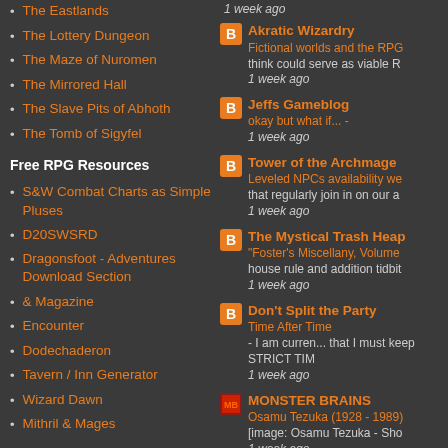The Eastlands
The Lottery Dungeon
The Maze of Nuromen
The Mirrored Hall
The Slave Pits of Abhoth
The Tomb of Sigyfel
Free RPG Resources
S&W Combat Charts as Simple Pluses
D20SWSRD
Dragonsfoot - Adventures Download Section
& Magazine
Encounter
Dodechaderon
Tavern / Inn Generator
Wizard Dawn
Mithril & Mages
DCC RPG
1 week ago
Akratic Wizardry
Fictional worlds and the RPG ... think could serve as viable R
1 week ago
Jeffs Gameblog
okay but what if... -
1 week ago
Tower of the Archmage
Leveled NPCs availability we... that regularly join in on our a
1 week ago
The Mystical Trash Heap
"Foster's Miscellany, Volume ... house rule and addition tidbit
1 week ago
Don't Split the Party
Time After Time - I am curren... that I must keep STRICT TIM
1 week ago
MONSTER BRAINS
Osamu Tezuka (1928 - 1989)
[image: Osamu Tezuka - Sho
1 week ago